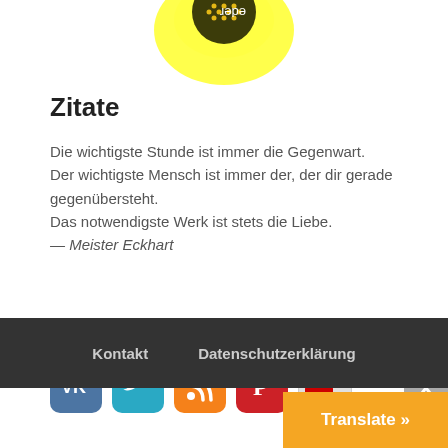[Figure (logo): Partial logo with yellow glow and dark circular badge at top center of page]
Zitate
Die wichtigste Stunde ist immer die Gegenwart. Der wichtigste Mensch ist immer der, der dir gerade gegenübersteht. Das notwendigste Werk ist stets die Liebe.
— Meister Eckhart
[Figure (infographic): Row of social media icon buttons: VK (blue), Twitter (teal bird), RSS (orange), Pinterest (red), YouTube (gray with red YouTube logo)]
Kontakt   Datenschutzerklärung
Translate »